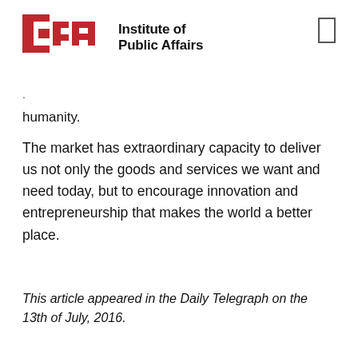[Figure (logo): Institute of Public Affairs logo with red IPA geometric icon and text]
… humanity.
The market has extraordinary capacity to deliver us not only the goods and services we want and need today, but to encourage innovation and entrepreneurship that makes the world a better place.
This article appeared in the Daily Telegraph on the 13th of July, 2016.